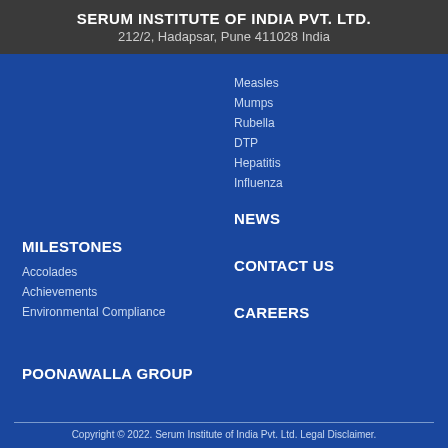SERUM INSTITUTE OF INDIA PVT. LTD.
212/2, Hadapsar, Pune 411028 India
Measles
Mumps
Rubella
DTP
Hepatitis
Influenza
MILESTONES
Accolades
Achievements
Environmental Compliance
NEWS
CONTACT US
CAREERS
POONAWALLA GROUP
Copyright © 2022. Serum Institute of India Pvt. Ltd. Legal Disclaimer.